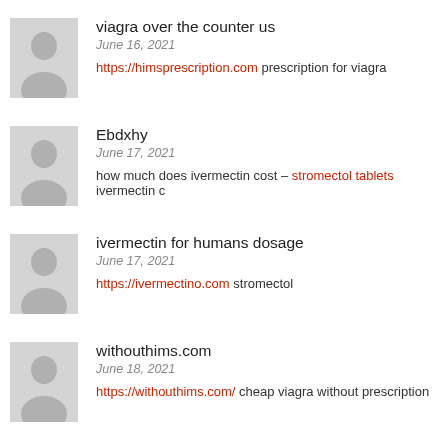[Figure (illustration): Grey placeholder avatar silhouette]
viagra over the counter us
June 16, 2021
https://himsprescription.com prescription for viagra
[Figure (illustration): Grey placeholder avatar silhouette]
Ebdxhy
June 17, 2021
how much does ivermectin cost – stromectol tablets ivermectin c
[Figure (illustration): Grey placeholder avatar silhouette]
ivermectin for humans dosage
June 17, 2021
https://ivermectino.com stromectol
[Figure (illustration): Grey placeholder avatar silhouette]
withouthims.com
June 18, 2021
https://withouthims.com/ cheap viagra without prescription